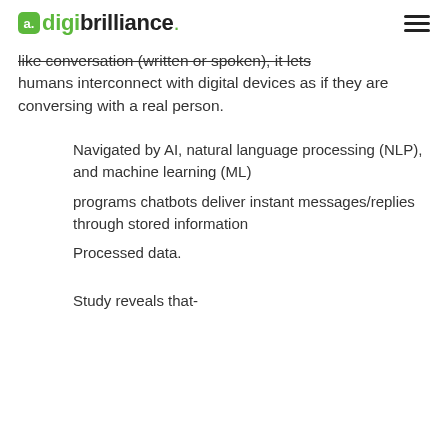digibrilliance.
like conversation (written or spoken), it lets humans interconnect with digital devices as if they are conversing with a real person.
Navigated by AI, natural language processing (NLP), and machine learning (ML)
programs chatbots deliver instant messages/replies through stored information
Processed data.
Study reveals that-